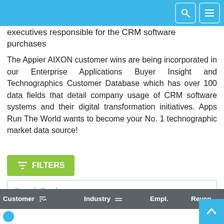executives responsible for the CRM software purchases
The Appier AIXON customer wins are being incorporated in our Enterprise Applications Buyer Insight and Technographics Customer Database which has over 100 data fields that detail company usage of CRM software systems and their digital transformation initiatives. Apps Run The World wants to become your No. 1 technographic market data source!
FILTERS
Search Purchases
DOWNLOAD SAMPLE
Buy This List Right Away
| Customer | Industry | Empl. | Reven. |
| --- | --- | --- | --- |
|  |